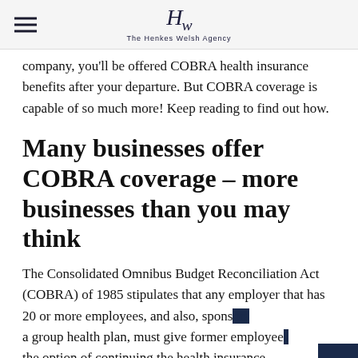The Henkes Welsh Agency
company, you'll be offered COBRA health insurance benefits after your departure. But COBRA coverage is capable of so much more! Keep reading to find out how.
Many businesses offer COBRA coverage – more businesses than you may think
The Consolidated Omnibus Budget Reconciliation Act (COBRA) of 1985 stipulates that any employer that has 20 or more employees, and also, sponsors a group health plan, must give former employees the option of continuing the health insurance